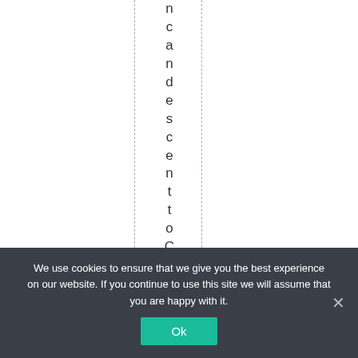ncandescentoCFLi
We use cookies to ensure that we give you the best experience on our website. If you continue to use this site we will assume that you are happy with it.